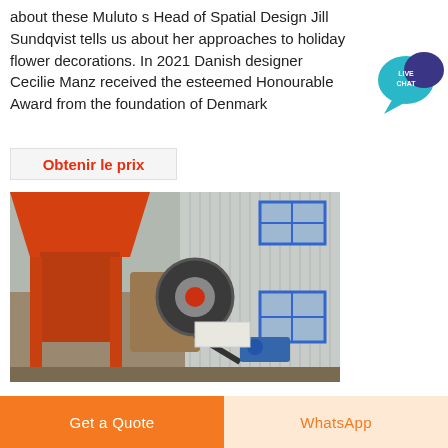about these Muluto s Head of Spatial Design Jill Sundqvist tells us about her approaches to holiday flower decorations. In 2021 Danish designer Cecilie Manz received the esteemed Honourable Award from the foundation of Denmark
[Figure (illustration): Live Chat button icon — teal speech bubble with 'LIVE CHAT' text in white]
Obtenir le prix
[Figure (photo): Industrial jaw crusher / mining equipment with orange hopper and large flywheel, positioned in front of a corrugated metal building with blue-framed windows]
Get a Quote
WhatsApp